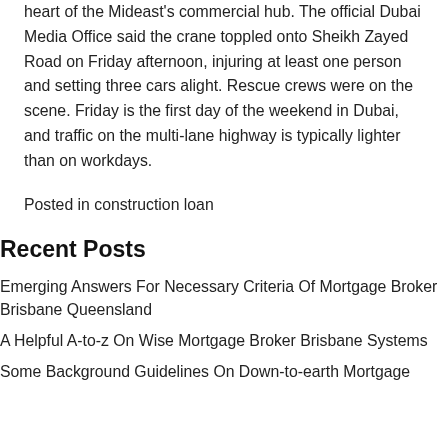highway running through Dubai, disrupting traffic in the heart of the Mideast's commercial hub. The official Dubai Media Office said the crane toppled onto Sheikh Zayed Road on Friday afternoon, injuring at least one person and setting three cars alight. Rescue crews were on the scene. Friday is the first day of the weekend in Dubai, and traffic on the multi-lane highway is typically lighter than on workdays.
Posted in construction loan
Recent Posts
Emerging Answers For Necessary Criteria Of Mortgage Broker Brisbane Queensland
A Helpful A-to-z On Wise Mortgage Broker Brisbane Systems
Some Background Guidelines On Down-to-earth Mortgage